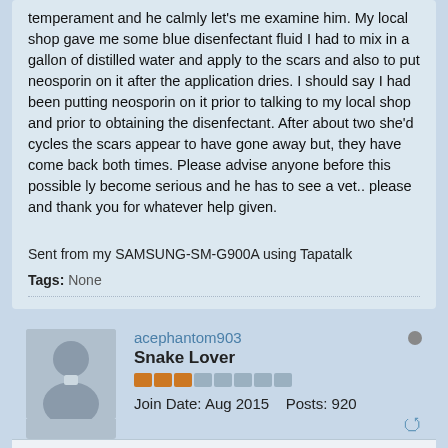temperament and he calmly let's me examine him. My local shop gave me some blue disenfectant fluid I had to mix in a gallon of distilled water and apply to the scars and also to put neosporin on it after the application dries. I should say I had been putting neosporin on it prior to talking to my local shop and prior to obtaining the disenfectant. After about two she'd cycles the scars appear to have gone away but, they have come back both times. Please advise anyone before this possible ly become serious and he has to see a vet.. please and thank you for whatever help given.
Sent from my SAMSUNG-SM-G900A using Tapatalk
Tags: None
acephantom903
Snake Lover
Join Date: Aug 2015    Posts: 920
12-26-2015, 12:07 PM
#2
Re: My corn is in danger